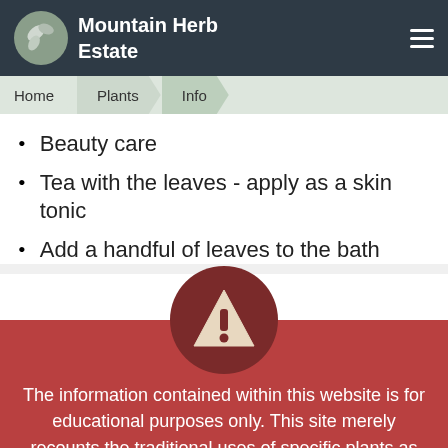Mountain Herb Estate
Beauty care
Tea with the leaves - apply as a skin tonic
Add a handful of leaves to the bath
[Figure (illustration): Warning triangle icon with exclamation mark inside a dark red circle]
The information contained within this website is for educational purposes only. This site merely recounts the traditional uses of specific plants as recorded through history. Always seek advice from a medical practitioner